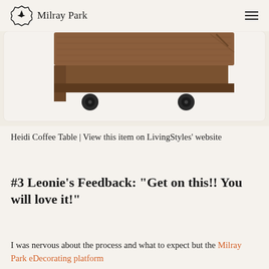Milray Park
[Figure (photo): Partial bottom view of a wooden coffee table with casters/wheels on a light beige background]
Heidi Coffee Table | View this item on LivingStyles' website
#3 Leonie's Feedback: "Get on this!! You will love it!"
I was nervous about the process and what to expect but the Milray Park eDecorating platform